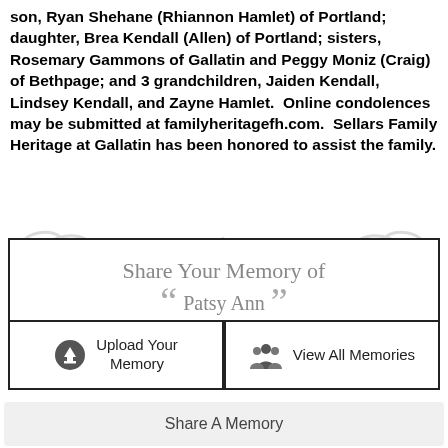son, Ryan Shehane (Rhiannon Hamlet) of Portland; daughter, Brea Kendall (Allen) of Portland; sisters, Rosemary Gammons of Gallatin and Peggy Moniz (Craig) of Bethpage; and 3 grandchildren, Jaiden Kendall, Lindsey Kendall, and Zayne Hamlet. Online condolences may be submitted at familyheritagefh.com. Sellars Family Heritage at Gallatin has been honored to assist the family.
[Figure (illustration): Decorative swirl/flourish ornament in light gray]
Share Your Memory of Patsy Ann
Upload Your Memory
View All Memories
Share A Memory